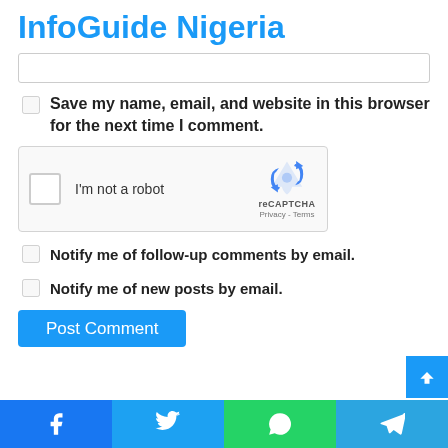InfoGuide Nigeria
[Figure (screenshot): Partial text input field (top of a website comment form)]
Save my name, email, and website in this browser for the next time I comment.
[Figure (other): reCAPTCHA widget with checkbox 'I'm not a robot', reCAPTCHA logo, Privacy and Terms links]
Notify me of follow-up comments by email.
Notify me of new posts by email.
Post Comment
[Figure (other): Social sharing bar with Facebook, Twitter, WhatsApp, and Telegram icons]